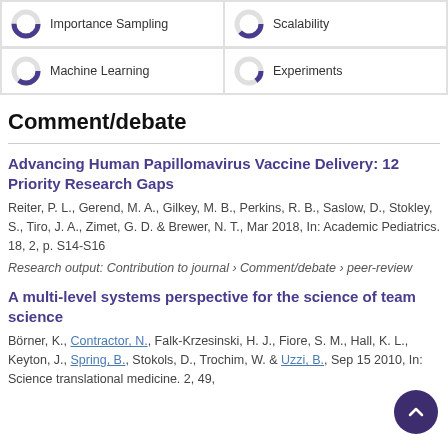[Figure (other): Two donut/pie chart badges for 'Importance Sampling' (~75%) and 'Scalability' (~63%) keywords]
[Figure (other): Two donut/pie chart badges for 'Machine Learning' (~60%) and 'Experiments' (~40%) keywords]
Comment/debate
Advancing Human Papillomavirus Vaccine Delivery: 12 Priority Research Gaps
Reiter, P. L., Gerend, M. A., Gilkey, M. B., Perkins, R. B., Saslow, D., Stokley, S., Tiro, J. A., Zimet, G. D. & Brewer, N. T., Mar 2018, In: Academic Pediatrics. 18, 2, p. S14-S16
Research output: Contribution to journal › Comment/debate › peer-review
A multi-level systems perspective for the science of team science
Börner, K., Contractor, N., Falk-Krzesinski, H. J., Fiore, S. M., Hall, K. L., Keyton, J., Spring, B., Stokols, D., Trochim, W. & Uzzi, B., Sep 15 2010, In: Science translational medicine. 2, 49,